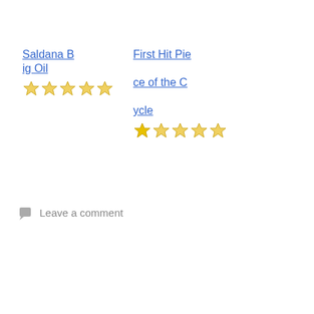Saldana Big Oil
[Figure (other): 5 yellow outline stars rating]
First Hit Piece of the Cycle
[Figure (other): 1 filled yellow star followed by 4 yellow outline stars rating]
Leave a comment